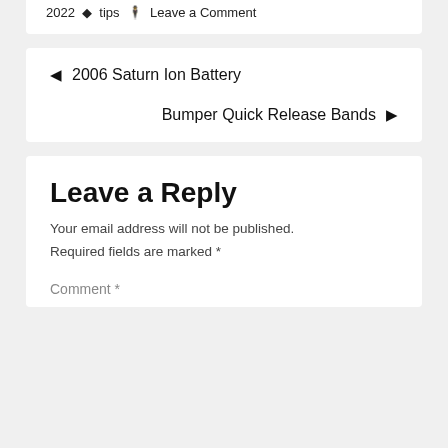2022  tips  Leave a Comment
◄ 2006 Saturn Ion Battery
Bumper Quick Release Bands ►
Leave a Reply
Your email address will not be published.
Required fields are marked *
Comment *